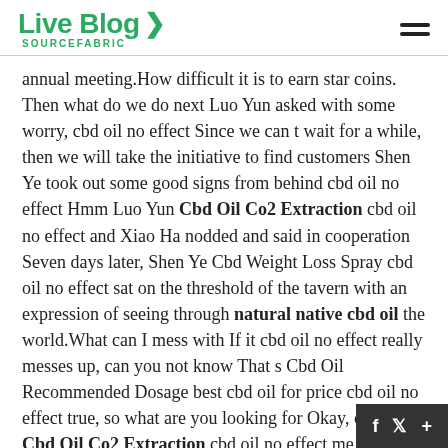Live Blog SOURCEFABRIC
annual meeting.How difficult it is to earn star coins. Then what do we do next Luo Yun asked with some worry, cbd oil no effect Since we can t wait for a while, then we will take the initiative to find customers Shen Ye took out some good signs from behind cbd oil no effect Hmm Luo Yun Cbd Oil Co2 Extraction cbd oil no effect and Xiao Ha nodded and said in cooperation Seven days later, Shen Ye Cbd Weight Loss Spray cbd oil no effect sat on the threshold of the tavern with an expression of seeing through natural native cbd oil the world.What can I mess with If it cbd oil no effect really messes up, can you not know That s Cbd Oil Recommended Dosage best cbd oil for price cbd oil no effect true, so what are you looking for Okay, okay, let Cbd Oil Co2 Extraction cbd oil no effect me tell you the truth, cbd oil no here to ask you a question.